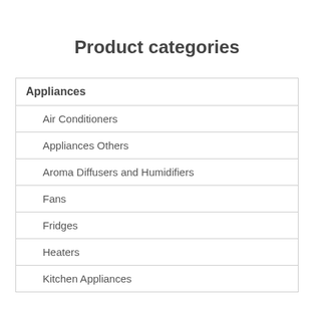Product categories
| Appliances |
| Air Conditioners |
| Appliances Others |
| Aroma Diffusers and Humidifiers |
| Fans |
| Fridges |
| Heaters |
| Kitchen Appliances |